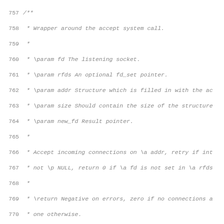Source code listing lines 757-788, C code with Doxygen comments for para_accept function